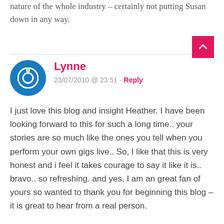nature of the whole industry – certainly not putting Susan down in any way.
Lynne
23/07/2010 @ 23:51 - Reply
I just love this blog and insight Heather. I have been looking forward to this for such a long time.. your stories are so much like the ones you tell when you perform your own gigs live.. So, I like that this is very honest and i feel it takes courage to say it like it is.. bravo.. so refreshing. and yes, I am an great fan of yours so wanted to thank you for beginning this blog – it is great to hear from a real person.